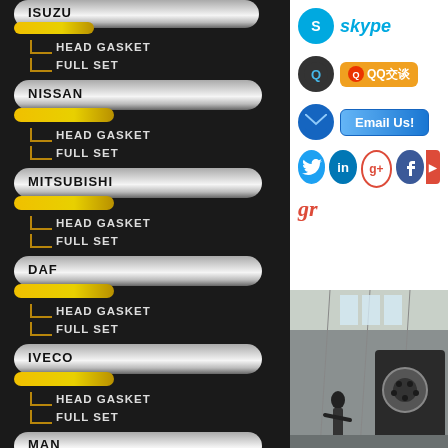[Figure (screenshot): Dark-background menu showing automotive parts brands (ISUZU, NISSAN, MITSUBISHI, DAF, IVECO, MAN) with sub-items HEAD GASKET and FULL SET under each brand, styled with silver/gold pill buttons.]
[Figure (screenshot): White social media panel showing Skype, QQ, Email Us, Twitter, LinkedIn, Google+, Facebook icons, plus a factory interior photo below.]